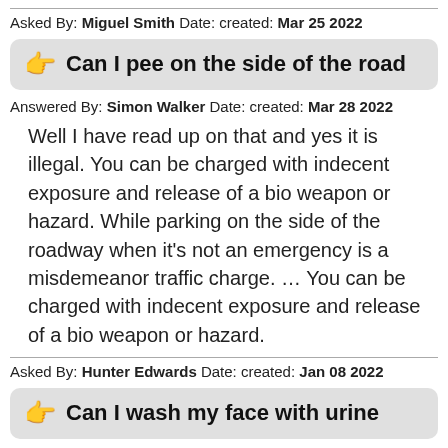Asked By: Miguel Smith Date: created: Mar 25 2022
Can I pee on the side of the road
Answered By: Simon Walker Date: created: Mar 28 2022
Well I have read up on that and yes it is illegal. You can be charged with indecent exposure and release of a bio weapon or hazard. While parking on the side of the roadway when it's not an emergency is a misdemeanor traffic charge. … You can be charged with indecent exposure and release of a bio weapon or hazard.
Asked By: Hunter Edwards Date: created: Jan 08 2022
Can I wash my face with urine